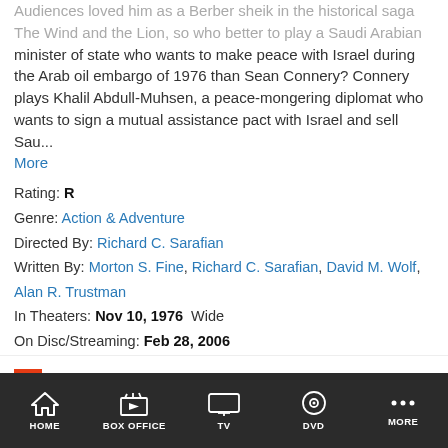Audiences loved him as a Berber sheik in the historical saga The Wind and the Lion, so who better to play a Saudi Arabian minister of state who wants to make peace with Israel during the Arab oil embargo of 1976 than Sean Connery? Connery plays Khalil Abdull-Muhsen, a peace-mongering diplomat who wants to sign a mutual assistance pact with Israel and sell Sau... More
Rating: R
Genre: Action & Adventure
Directed By: Richard C. Sarafian
Written By: Morton S. Fine, Richard C. Sarafian, David M. Wolf, Alan R. Trustman
In Theaters: Nov 10, 1976  Wide
On Disc/Streaming: Feb 28, 2006
Runtime: 108 minutes
Studio: Allied Artists
WATCH IT NOW
amazon
HOME   BOX OFFICE   TV   DVD   MORE